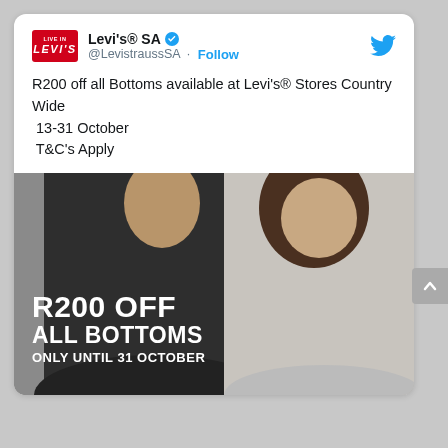Levi's® SA @LevistraussSA · Follow
R200 off all Bottoms available at Levi's® Stores Country Wide
 13-31 October
 T&C's Apply
[Figure (photo): Levi's promotional image showing a man in a black leather jacket and a woman in white, with text overlay: R200 OFF ALL BOTTOMS ONLY UNTIL 31 OCTOBER]